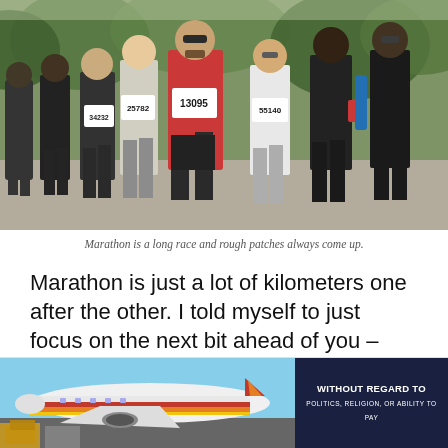[Figure (photo): A group of marathon runners on a road race. The central runner wears a red tank top and bib number 13095. Other visible bib numbers include 25782, 34232, and 55140. Runners are in motion with trees visible in the background.]
Marathon is a long race and rough patches always come up.
Marathon is just a lot of kilometers one after the other. I told myself to just focus on the next bit ahead of you – what you have now. Put one step in front of the other and that finish line will get closer.
When the rough patch comes up, it's good to
[Figure (photo): Advertisement banner showing an airplane with Southwest Airlines livery being loaded with cargo. Text overlay reads 'WITHOUT REGARD TO POLITICS, RELIGION, OR ABILITY TO PAY'.]